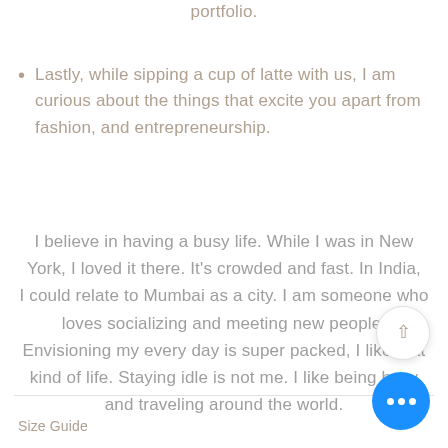portfolio.
Lastly, while sipping a cup of latte with us, I am curious about the things that excite you apart from fashion, and entrepreneurship.
I believe in having a busy life. While I was in New York, I loved it there. It's crowded and fast. In India, I could relate to Mumbai as a city. I am someone who loves socializing and meeting new people. Envisioning my every day is super packed, I like that kind of life. Staying idle is not me. I like being busy and traveling around the world.
Size Guide